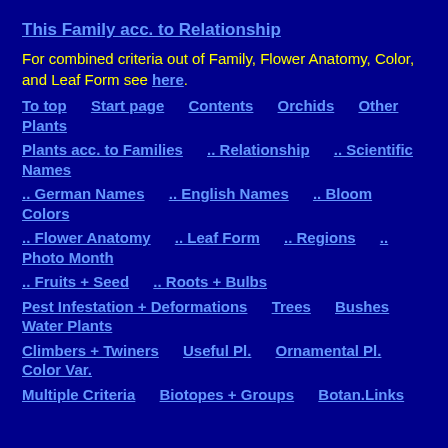This Family acc. to Relationship
For combined criteria out of Family, Flower Anatomy, Color, and Leaf Form see here.
To top    Start page    Contents    Orchids    Other Plants
Plants acc. to Families    .. Relationship    .. Scientific Names
.. German Names    .. English Names    .. Bloom Colors
.. Flower Anatomy    .. Leaf Form    .. Regions    .. Photo Month
.. Fruits + Seed    .. Roots + Bulbs
Pest Infestation + Deformations    Trees    Bushes    Water Plants
Climbers + Twiners    Useful Pl.    Ornamental Pl.    Color Var.
Multiple Criteria    Biotopes + Groups    Botan.Links